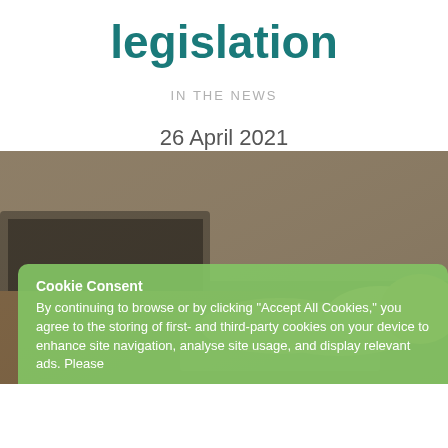legislation
IN THE NEWS
26 April 2021
[Figure (photo): Person typing on a laptop, hands visible on keyboard, blurred background with neutral tones]
Cookie Consent
By continuing to browse or by clicking "Accept All Cookies," you agree to the storing of first- and third-party cookies on your device to enhance site navigation, analyse site usage, and display relevant ads. Please